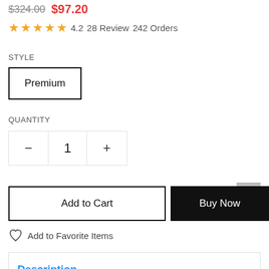$324.00 $97.20
4.2  28 Review  242 Orders
STYLE
Premium
QUANTITY
- 1 +
Add to Cart
Buy Now
Add to Favorite Items
Description